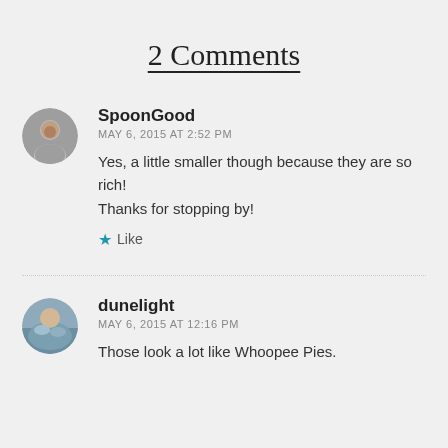2 Comments
SpoonGood
MAY 6, 2015 AT 2:52 PM

Yes, a little smaller though because they are so rich! Thanks for stopping by!

★ Like
dunelight
MAY 6, 2015 AT 12:16 PM

Those look a lot like Whoopee Pies.